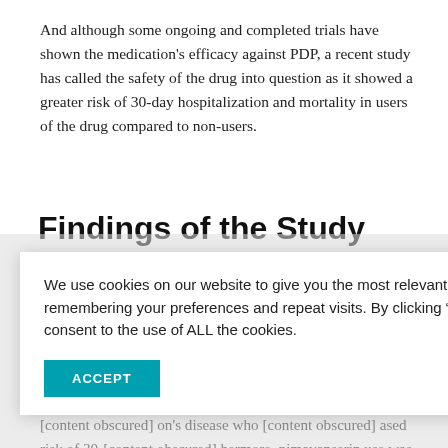And although some ongoing and completed trials have shown the medication's efficacy against PDP, a recent study has called the safety of the drug into question as it showed a greater risk of 30-day hospitalization and mortality in users of the drug compared to non-users.
Findings of the Study
The researchers conducted a retrospective cohort study that [partially obscured] r residing in long- [partially obscured] nd December 31,
[partially obscured] 30 ad 90-day [partially obscured] serin use.
[partially obscured] on's disease who [partially obscured] ased risk of 30- [partially obscured] hermore, pimavanserin use was also associated with a significant increase [partially obscured]
We use cookies on our website to give you the most relevant experience by remembering your preferences and repeat visits. By clicking “Accept”, you consent to the use of ALL the cookies.